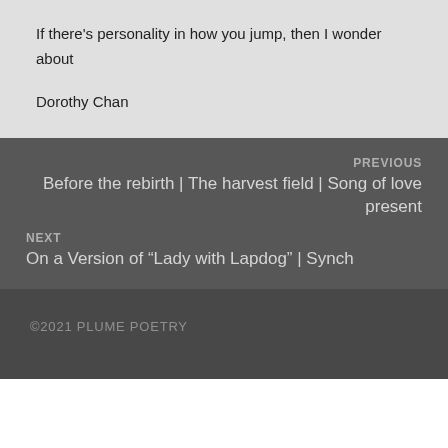If there's personality in how you jump, then I wonder about
Dorothy Chan
PREVIOUS
Before the rebirth | The harvest field | Song of love present
NEXT
On a Version of “Lady with Lapdog” | Synch
©2021 PLUME POETRY